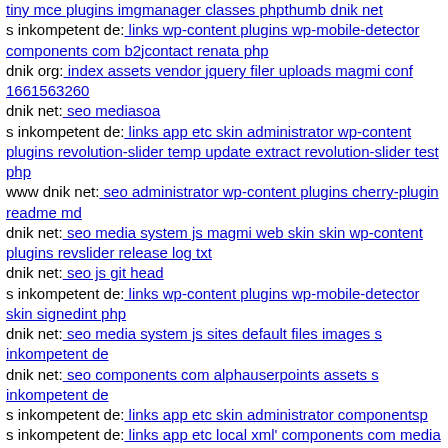tiny mce plugins imgmanager classes phpthumb dnik net
s inkompetent de: links wp-content plugins wp-mobile-detector components com b2jcontact renata php
dnik org: index assets vendor jquery filer uploads magmi conf 1661563260
dnik net: seo mediasoa
s inkompetent de: links app etc skin administrator wp-content plugins revolution-slider temp update extract revolution-slider test php
www dnik net: seo administrator wp-content plugins cherry-plugin readme md
dnik net: seo media system js magmi web skin skin wp-content plugins revslider release log txt
dnik net: seo js git head
s inkompetent de: links wp-content plugins wp-mobile-detector skin signedint php
dnik net: seo media system js sites default files images s inkompetent de
dnik net: seo components com alphauserpoints assets s inkompetent de
s inkompetent de: links app etc skin administrator componentsp
s inkompetent de: links app etc local xml' components com media dnik net
dnik net: seo wp-content themes twentyfourteen magmi web components com b2jcontact uhuy insom php